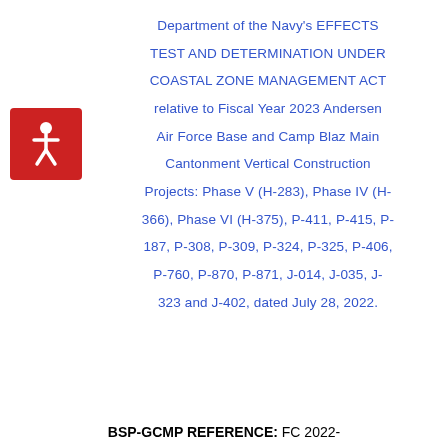[Figure (logo): Red square with white accessibility/wheelchair user icon (circle with person figure)]
Department of the Navy's EFFECTS TEST AND DETERMINATION UNDER COASTAL ZONE MANAGEMENT ACT relative to Fiscal Year 2023 Andersen Air Force Base and Camp Blaz Main Cantonment Vertical Construction Projects: Phase V (H-283), Phase IV (H-366), Phase VI (H-375), P-411, P-415, P-187, P-308, P-309, P-324, P-325, P-406, P-760, P-870, P-871, J-014, J-035, J-323 and J-402, dated July 28, 2022.
BSP-GCMP REFERENCE: FC 2022-